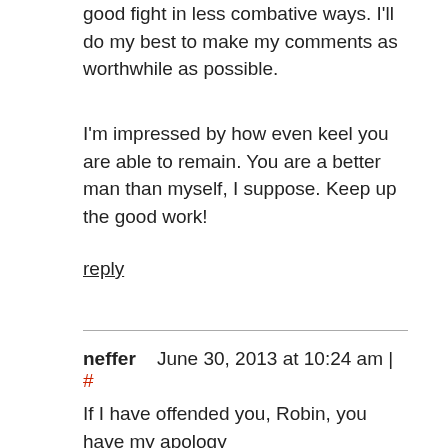good fight in less combative ways. I'll do my best to make my comments as worthwhile as possible.
I'm impressed by how even keel you are able to remain. You are a better man than myself, I suppose. Keep up the good work!
reply
neffer   June 30, 2013 at 10:24 am | #
If I have offended you, Robin, you have my apology